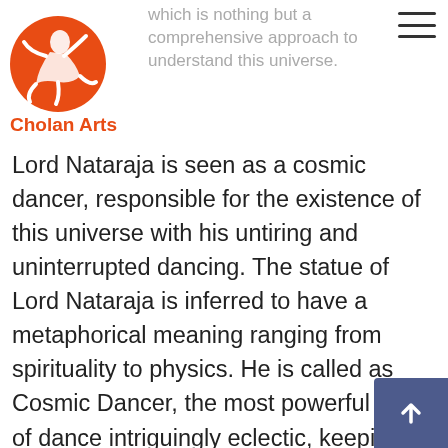which is nothing but a comprehensive approach to understand this universe.
[Figure (logo): Cholan Arts logo — red circular figure of a dancer]
Lord Nataraja is seen as a cosmic dancer, responsible for the existence of this universe with his untiring and uninterrupted dancing. The statue of Lord Nataraja is inferred to have a metaphorical meaning ranging from spirituality to physics. He is called as Cosmic Dancer, the most powerful form of dance intriguingly eclectic, keeping everything in the universe intact. With a reference to the cosmic dance of Lord Shiva and its relevance to Big Bang theory which reinstates on consistent movement of subatomic particles in the Universe, a 2m tall statue of Lord Nataraja is placed in front of